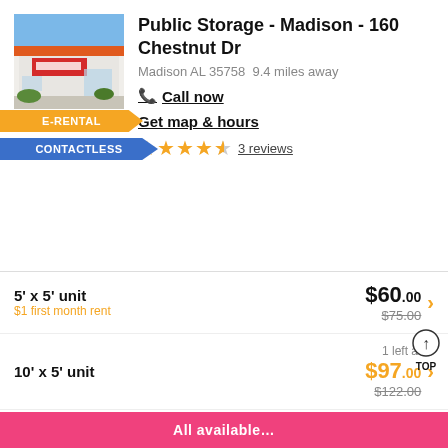[Figure (photo): Exterior photo of Public Storage facility with orange branding]
Public Storage - Madison - 160 Chestnut Dr
Madison AL 35758  9.4 miles away
Call now
Get map & hours
3 reviews
E-RENTAL
CONTACTLESS
5' x 5' unit
$1 first month rent
$60.00
$75.00
10' x 5' unit
1 left at
$97.00
$122.00